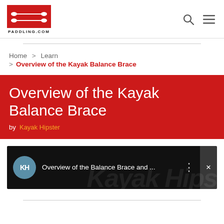PADDLING.COM
Home > Learn > Overview of the Kayak Balance Brace
Overview of the Kayak Balance Brace
by Kayak Hipster
[Figure (screenshot): YouTube video thumbnail showing 'Overview of the Balance Brace and ...' by Kayak Hipster channel (KH logo) on a dark background with stylized text]